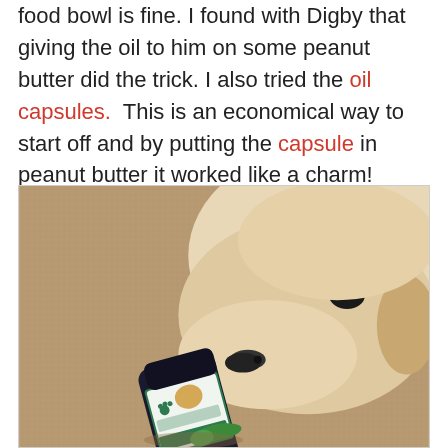food bowl is fine. I found with Digby that giving the oil to him on some peanut butter did the trick. I also tried the oil capsules. This is an economical way to start off and by putting the capsule in peanut butter it worked like a charm!
[Figure (photo): A yellow/white Labrador-type dog lying on a beige carpet, sniffing a dark glass bottle of Pet Releaf capsules on its side, with a green capsule visible near the bottle.]